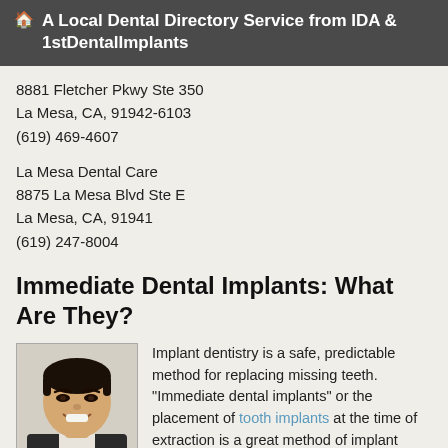A Local Dental Directory Service from IDA & 1stDentalImplants
8881 Fletcher Pkwy Ste 350
La Mesa, CA, 91942-6103
(619) 469-4607
La Mesa Dental Care
8875 La Mesa Blvd Ste E
La Mesa, CA, 91941
(619) 247-8004
Immediate Dental Implants: What Are They?
[Figure (photo): Portrait photo of a young Asian man smiling, wearing a dark jacket]
Implant dentistry is a safe, predictable method for replacing missing teeth. "Immediate dental implants" or the placement of tooth implants at the time of extraction is a great method of implant placement. This method can be considered when a single upper... read more